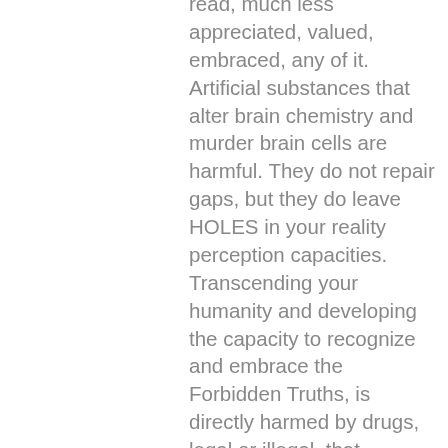read, much less appreciated, valued, embraced, any of it. Artificial substances that alter brain chemistry and murder brain cells are harmful. They do not repair gaps, but they do leave HOLES in your reality perception capacities. Transcending your humanity and developing the capacity to recognize and embrace the Forbidden Truths, is directly harmed by drugs, legal or illegal, that artificially alter brain chemistry.
Perhaps you can never develop the capacity to perceive Yourself,